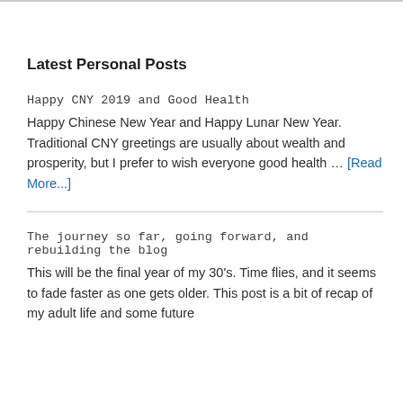Latest Personal Posts
Happy CNY 2019 and Good Health
Happy Chinese New Year and Happy Lunar New Year. Traditional CNY greetings are usually about wealth and prosperity, but I prefer to wish everyone good health … [Read More...]
The journey so far, going forward, and rebuilding the blog
This will be the final year of my 30's. Time flies, and it seems to fade faster as one gets older. This post is a bit of recap of my adult life and some future